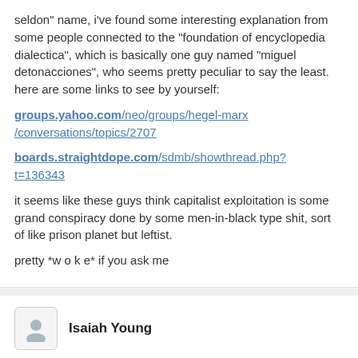seldon" name, i've found some interesting explanation from some people connected to the "foundation of encyclopedia dialectica", which is basically one guy named "miguel detonacciones", who seems pretty peculiar to say the least. here are some links to see by yourself:
groups.yahoo.com/neo/groups/hegel-marx/conversations/topics/2707
boards.straightdope.com/sdmb/showthread.php?t=136343
it seems like these guys think capitalist exploitation is some grand conspiracy done by some men-in-black type shit, sort of like prison planet but leftist.
pretty *w o k e* if you ask me
Isaiah Young
moreover, the entire thing seems connected to a sci fi series called "foundation" by isaac asimov, from what i could gather from the second link